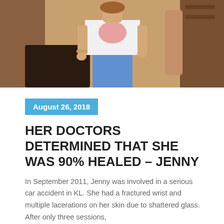[Figure (photo): A woman wearing a white t-shirt with a graphic print and blue pants standing indoors. Background shows dark furniture and shelving.]
August 26, 2018
HER DOCTORS DETERMINED THAT SHE WAS 90% HEALED – JENNY
In September 2011, Jenny was involved in a serious car accident in KL. She had a fractured wrist and multiple lacerations on her skin due to shattered glass. After only three sessions,